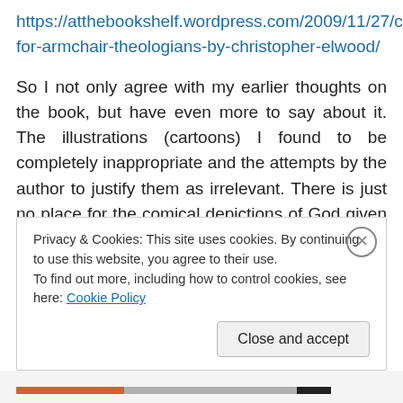https://atthebookshelf.wordpress.com/2009/11/27/calvin-for-armchair-theologians-by-christopher-elwood/
So I not only agree with my earlier thoughts on the book, but have even more to say about it. The illustrations (cartoons) I found to be completely inappropriate and the attempts by the author to justify them as irrelevant. There is just no place for the comical depictions of God given in the book.
The treatment of Calvin's life is disappointing, with not enough detail given to it and some of the important
Privacy & Cookies: This site uses cookies. By continuing to use this website, you agree to their use.
To find out more, including how to control cookies, see here: Cookie Policy